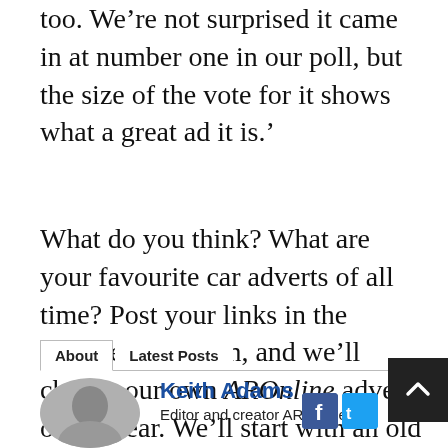too. We're not surprised it came in at number one in our poll, but the size of the vote for it shows what a great ad it is.'
What do you think? What are your favourite car adverts of all time? Post your links in the comments section, and we'll choose our own AROnline advert of the year. We'll start with an old favourite, which you'll more than appreciate.
About   Latest Posts
Keith Adams
Editor and creator AROnline, at